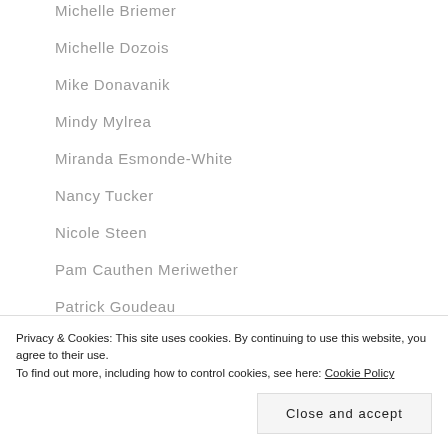Michelle Briemer
Michelle Dozois
Mike Donavanik
Mindy Mylrea
Miranda Esmonde-White
Nancy Tucker
Nicole Steen
Pam Cauthen Meriwether
Patrick Goudeau
Paul Katami
Privacy & Cookies: This site uses cookies. By continuing to use this website, you agree to their use.
To find out more, including how to control cookies, see here: Cookie Policy
Close and accept